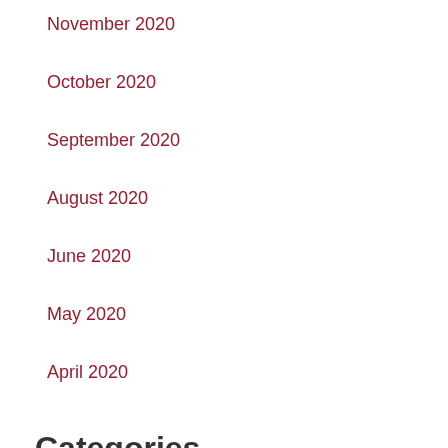November 2020
October 2020
September 2020
August 2020
June 2020
May 2020
April 2020
Categories
Bakeries